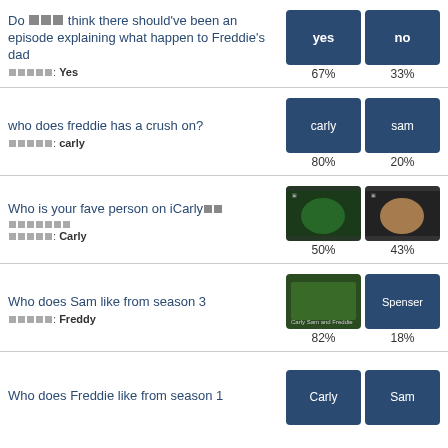Do you think there should've been an episode explaining what happen to Freddie's dad
Answer: Yes
67% / 33%
who does freddie has a crush on?
Answer: carly
80% / 20%
Who is your fave person on iCarly??
Answer: Carly
50% / 43%
Who does Sam like from season 3
Answer: Freddy
82% / 18%
Who does Freddie like from season 1
Carly / Sam